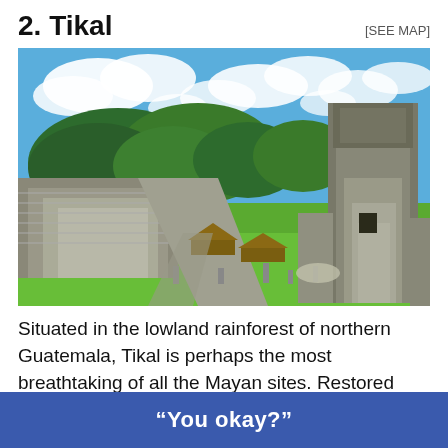2. Tikal
[SEE MAP]
[Figure (photo): Aerial view of Tikal archaeological site in Guatemala showing the Great Plaza with Mayan temples, stepped pyramids, green lawn, thatched shelters, and surrounding rainforest under a blue sky with clouds.]
Situated in the lowland rainforest of northern Guatemala, Tikal is perhaps the most breathtaking of all the Mayan sites. Restored buildings are scattered a
“You okay?”